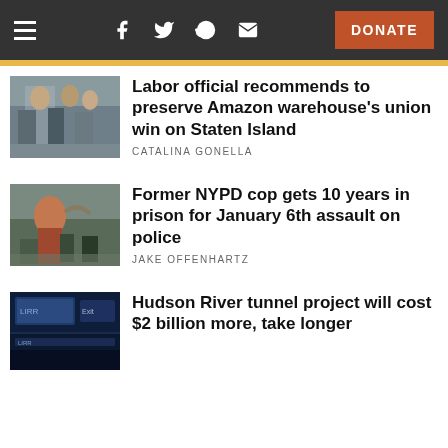Navigation bar with hamburger menu, social icons (Facebook, Twitter, Reddit, Email), and DONATE button
[Figure (photo): People holding signs at a protest or union rally outdoors]
Labor official recommends to preserve Amazon warehouse's union win on Staten Island
CATALINA GONELLA
[Figure (photo): Man with musical instrument in a crowd scene, possibly riot or protest setting]
Former NYPD cop gets 10 years in prison for January 6th assault on police
JAKE OFFENHARTZ
[Figure (photo): LIRR transit station with Exit sign and monitors visible]
Hudson River tunnel project will cost $2 billion more, take longer